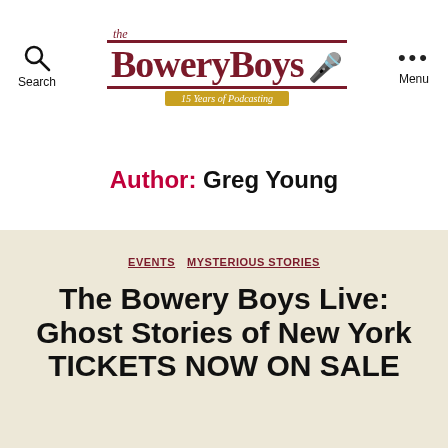Search | The Bowery Boys 15 Years of Podcasting | Menu
Author: Greg Young
EVENTS  MYSTERIOUS STORIES
The Bowery Boys Live: Ghost Stories of New York TICKETS NOW ON SALE